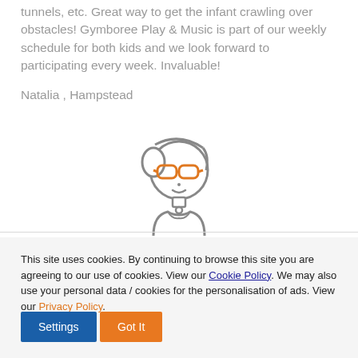tunnels, etc. Great way to get the infant crawling over obstacles! Gymboree Play & Music is part of our weekly schedule for both kids and we look forward to participating every week. Invaluable!
Natalia , Hampstead
[Figure (illustration): Cartoon illustration of a girl with a ponytail wearing orange glasses, gray outline style]
This site uses cookies. By continuing to browse this site you are agreeing to our use of cookies. View our Cookie Policy. We may also use your personal data / cookies for the personalisation of ads. View our Privacy Policy.
Settings | Got It